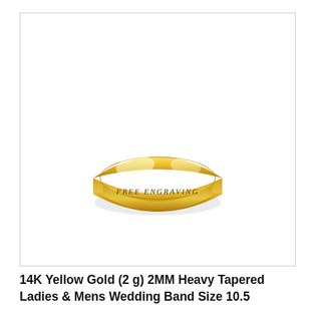[Figure (photo): Product photo of a 14K yellow gold wedding band ring with shiny polished surface. The ring has text engraved inside reading 'FREE ENGRAVING'. The ring is displayed on a white background inside a light gray bordered box.]
14K Yellow Gold (2 g) 2MM Heavy Tapered Ladies & Mens Wedding Band Size 10.5